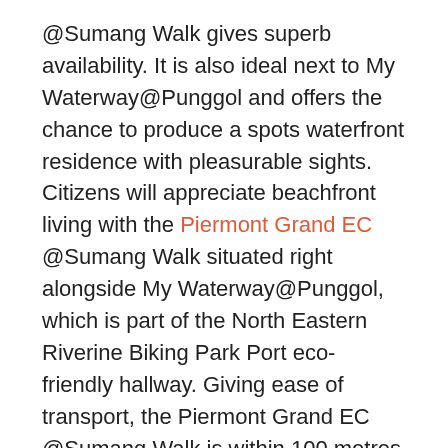@Sumang Walk gives superb availability. It is also ideal next to My Waterway@Punggol and offers the chance to produce a spots waterfront residence with pleasurable sights. Citizens will appreciate beachfront living with the Piermont Grand EC @Sumang Walk situated right alongside My Waterway@Punggol, which is part of the North Eastern Riverine Biking Park Port eco-friendly hallway. Giving ease of transport, the Piermont Grand EC @Sumang Walk is within 100 metres to Sumang LRT station and 550 metres to Punggol MRT/LRT terminal and bus interchange. It is well-connected to various other parts of Singapore using significant arterial roads, Kallang-Paya Lebar Expressway (KPE) and Tampines Expressway (TPE), making the Central Downtown and Orchard Road is simply a 25-minute